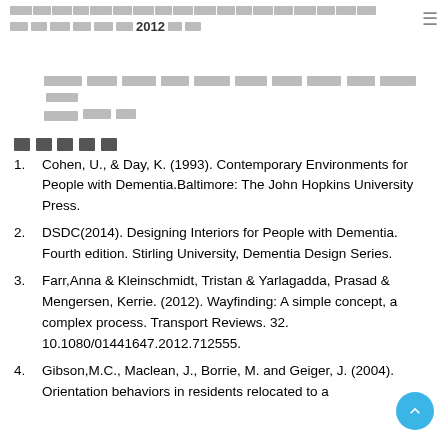[Thai text header] 2012[Thai]
[Thai text paragraph]
[Thai] (References)
1.    Cohen, U., & Day, K. (1993). Contemporary Environments for People with Dementia.Baltimore: The John Hopkins University Press.
2.    DSDC(2014). Designing Interiors for People with Dementia. Fourth edition. Stirling University, Dementia Design Series.
3.    Farr,Anna & Kleinschmidt, Tristan & Yarlagadda, Prasad & Mengersen, Kerrie. (2012). Wayfinding: A simple concept, a complex process. Transport Reviews. 32. 10.1080/01441647.2012.712555.
4.    Gibson,M.C., Maclean, J., Borrie, M. and Geiger, J. (2004). Orientation behaviors in residents relocated to a